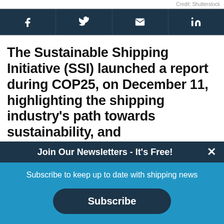Credit: Shutterstock
[Figure (other): Social sharing buttons: Facebook, Twitter, Email, LinkedIn on dark navy background]
The Sustainable Shipping Initiative (SSI) launched a report during COP25, on December 11, highlighting the shipping industry's path towards sustainability, and
Join Our Newsletters - It's Free! ✕
Subscribe to keep up to date with shipping news
Subscribe